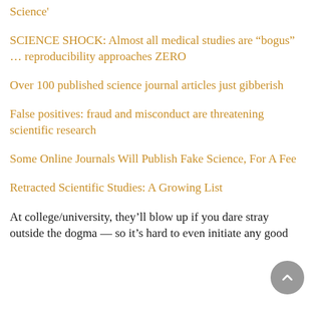Science'
SCIENCE SHOCK: Almost all medical studies are “bogus” … reproducibility approaches ZERO
Over 100 published science journal articles just gibberish
False positives: fraud and misconduct are threatening scientific research
Some Online Journals Will Publish Fake Science, For A Fee
Retracted Scientific Studies: A Growing List
At college/university, they’ll blow up if you dare stray outside the dogma — so it’s hard to even initiate any good